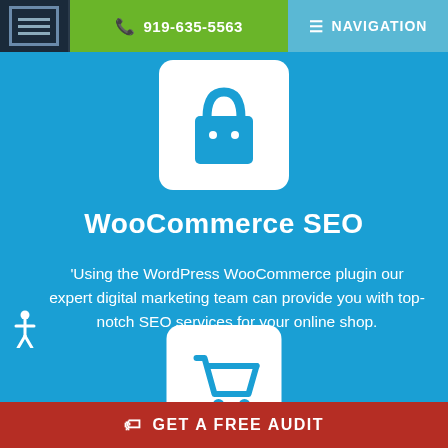919-635-5563  NAVIGATION
[Figure (illustration): White rounded square with a teal shopping bag icon on a blue background]
WooCommerce SEO
Using the WordPress WooCommerce plugin our expert digital marketing team can provide you with top-notch SEO services for your online shop.
[Figure (illustration): White rounded square with a teal shopping cart icon on a blue background]
GET A FREE AUDIT